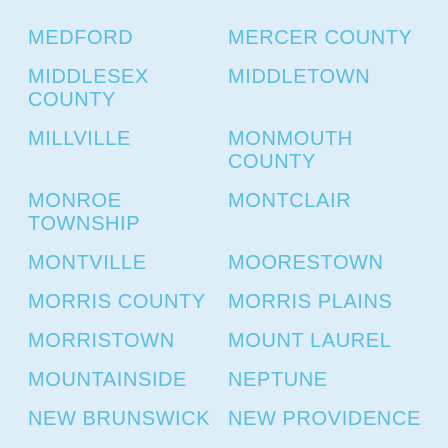MEDFORD
MERCER COUNTY
MIDDLESEX COUNTY
MIDDLETOWN
MILLVILLE
MONMOUTH COUNTY
MONROE TOWNSHIP
MONTCLAIR
MONTVILLE
MOORESTOWN
MORRIS COUNTY
MORRIS PLAINS
MORRISTOWN
MOUNT LAUREL
MOUNTAINSIDE
NEPTUNE
NEW BRUNSWICK
NEW PROVIDENCE
NEWARK
NEWTON
NORTH BERGEN
NORTH CAPE MAY
OCEAN COUNTY
OCEAN GROVE